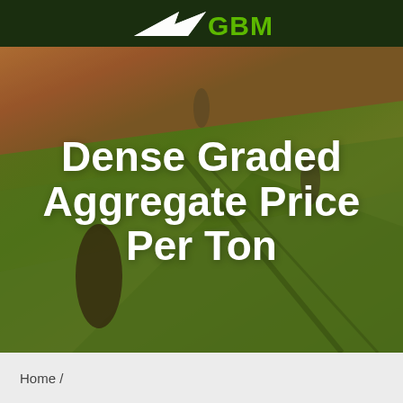GBM
[Figure (screenshot): GBM website navigation bar with green hamburger menu icon on right]
Dense Graded Aggregate Price Per Ton
Home /